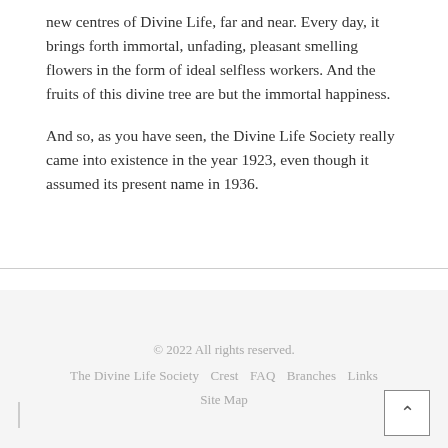new centres of Divine Life, far and near. Every day, it brings forth immortal, unfading, pleasant smelling flowers in the form of ideal selfless workers. And the fruits of this divine tree are but the immortal happiness.
And so, as you have seen, the Divine Life Society really came into existence in the year 1923, even though it assumed its present name in 1936.
© 2022 All rights reserved. The Divine Life Society  Crest  FAQ  Branches  Links  Site Map